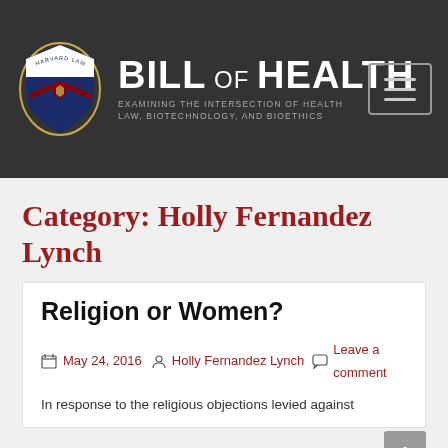BILL OF HEALTH — Examining the Intersection of Health Law, Biotechnology, and Bioethics — Harvard Law Petrie-Flom Center
Category: Holly Fernandez Lynch
Religion or Women?
May 24, 2016 · Holly Fernandez Lynch · Leave a comment
In response to the religious objections levied against